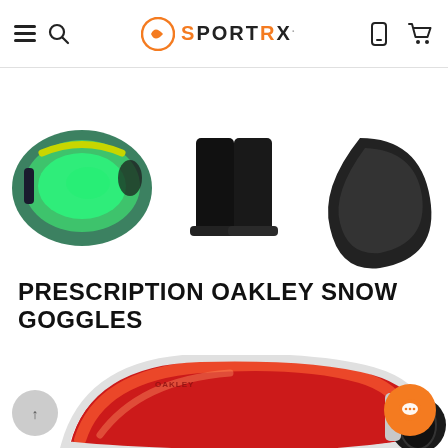SportRx
[Figure (photo): Three product images at top: Oakley snow goggle with green mirror lens on left, black ski boot/shoe in center, and black goggle case on right, partially visible, cropped at top of page]
PRESCRIPTION OAKLEY SNOW GOGGLES
[Figure (photo): Oakley Flight Deck snow goggle with red/orange Prizm mirror lens and white/Oakley logo frame, shown large, cropped at bottom of page]